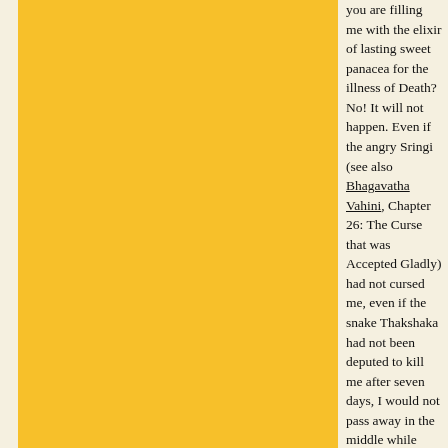you are filling me with the elixir of lasting sweet panacea for the illness of Death? No! It will not happen. Even if the angry Sringi (see also Bhagavatha Vahini, Chapter 26: The Curse that was Accepted Gladly) had not cursed me, even if the snake Thakshaka had not been deputed to kill me after seven days, I would not pass away in the middle while listening to the stories of the Lord. I listen to them, without thought of food and drink. My food, my drink, are the nectarine stories of Krishna. So, do not think of my food and drink; make me fit for the Highest Bliss, the Supreme Stage of Realisation. Save me from downfall. I am prostrating at your feet."
The King shed tears of contrition and sat praying to the Perceptor. The sage said, "Listen, then. In the beginning, Brahma shed light on the world manifested by Maya, or Delusion. Brahma willed that creation might proliferate. But, a voice from the void above (the Akasa) warned, 'Thapas is the essential base for everything'. Through Thapas, Delusion will disappear!" At this Parikshith intervened. He asked, "What is the meaning and value of Thapas? Please enlighten me."
Suka took this interruption kindly. He said, "Son! Thapas means Sadhana, Discipline, Spiritual exercise. It is through Thapas that the great